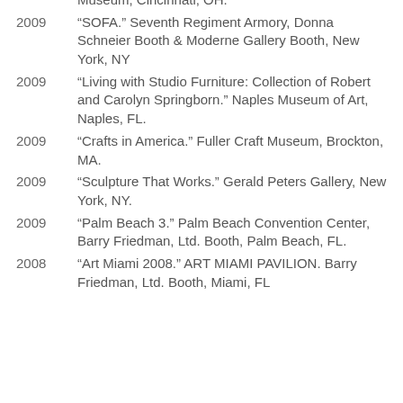Museum, Cincinnati, OH.
2009 “SOFA.” Seventh Regiment Armory, Donna Schneier Booth & Moderne Gallery Booth, New York, NY
2009 “Living with Studio Furniture: Collection of Robert and Carolyn Springborn.” Naples Museum of Art, Naples, FL.
2009 “Crafts in America.” Fuller Craft Museum, Brockton, MA.
2009 “Sculpture That Works.” Gerald Peters Gallery, New York, NY.
2009 “Palm Beach 3.” Palm Beach Convention Center, Barry Friedman, Ltd. Booth, Palm Beach, FL.
2008 “Art Miami 2008.” ART MIAMI PAVILION. Barry Friedman, Ltd. Booth, Miami, FL